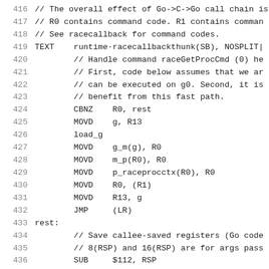416  // The overall effect of Go->C->Go call chain is
417  // R0 contains command code. R1 contains command
418  // See racecallback for command codes.
419      TEXT    runtime·racecallbackthunk(SB), NOSPLIT|
420              // Handle command raceGetProcCmd (0) he
421              // First, code below assumes that we ar
422              // can be executed on g0. Second, it is
423              // benefit from this fast path.
424              CBNZ    R0, rest
425              MOVD    g, R13
426              load_g
427              MOVD    g_m(g), R0
428              MOVD    m_p(R0), R0
429              MOVD    p_raceprocctx(R0), R0
430              MOVD    R0, (R1)
431              MOVD    R13, g
432              JMP     (LR)
433      rest:
434              // Save callee-saved registers (Go code
435              // 8(RSP) and 16(RSP) are for args pass
436              SUB     $112, RSP